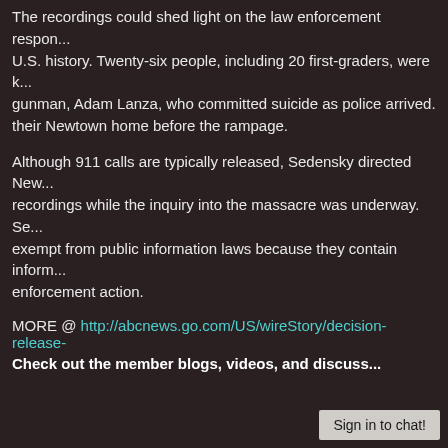The recordings could shed light on the law enforcement response... U.S. history. Twenty-six people, including 20 first-graders, were k... gunman, Adam Lanza, who committed suicide as police arrived. ... their Newtown home before the rampage.
Although 911 calls are typically released, Sedensky directed New... recordings while the inquiry into the massacre was underway. Se... exempt from public information laws because they contain inform... enforcement action.
MORE @ http://abcnews.go.com/US/wireStory/decision-release-
Check out the member blogs, videos, and discuss...
Sign in to chat!